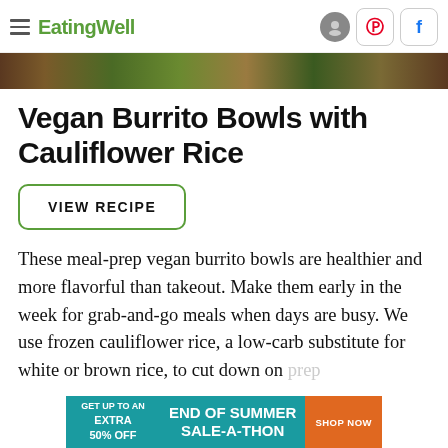EatingWell
[Figure (photo): Partial food photo strip showing colorful vegetables and burrito bowl ingredients]
Vegan Burrito Bowls with Cauliflower Rice
VIEW RECIPE
These meal-prep vegan burrito bowls are healthier and more flavorful than takeout. Make them early in the week for grab-and-go meals when days are busy. We use frozen cauliflower rice, a low-carb substitute for white or brown rice, to cut down on prep
[Figure (infographic): Advertisement banner: GET UP TO AN EXTRA 50% OFF — END OF SUMMER SALE-A-THON — SHOP NOW]